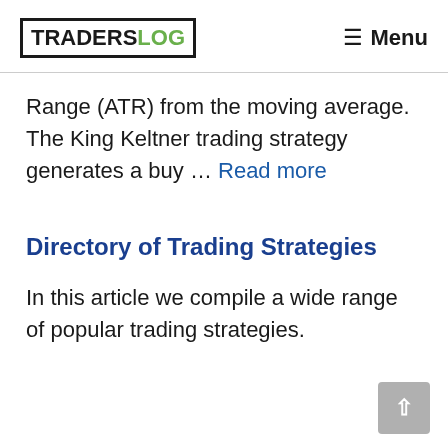TRADERSLOG | Menu
Range (ATR) from the moving average. The King Keltner trading strategy generates a buy … Read more
Directory of Trading Strategies
In this article we compile a wide range of popular trading strategies.